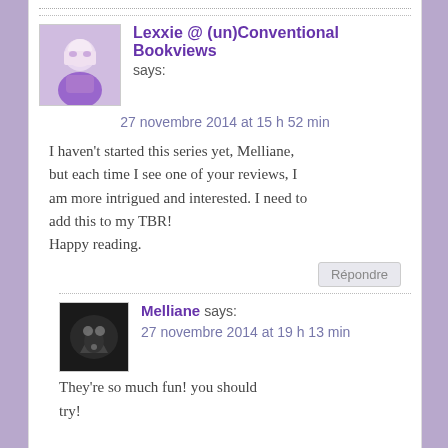Lexxie @ (un)Conventional Bookviews says:
27 novembre 2014 at 15 h 52 min
I haven't started this series yet, Melliane, but each time I see one of your reviews, I am more intrigued and interested. I need to add this to my TBR!
Happy reading.
Répondre
Melliane says:
27 novembre 2014 at 19 h 13 min
They're so much fun! you should try!